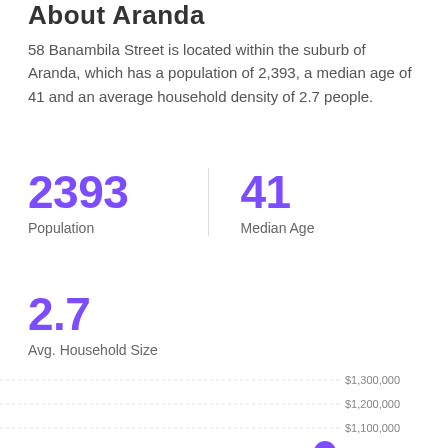About Aranda
58 Banambila Street is located within the suburb of Aranda, which has a population of 2,393, a median age of 41 and an average household density of 2.7 people.
2393
Population
41
Median Age
2.7
Avg. Household Size
[Figure (line-chart): Line chart showing rising property prices in Aranda, with y-axis values from $800,000 to $1,300,000. The line trends upward sharply at the right with two highlighted data points near $900,000 and $1,000,000.]